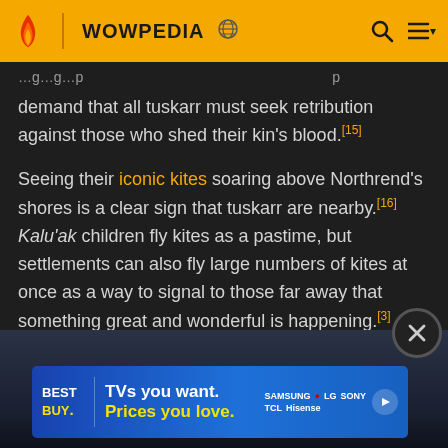WOWPEDIA
demand that all tuskarr must seek retribution against those who shed their kin's blood.[15]
Seeing their iconic kites soaring above Northrend's shores is a clear sign that tuskarr are nearby.[16] Kalu'ak children fly kites as a pastime, but settlements can also fly large numbers of kites at once as a way to signal to those far away that something great and wonderful is happening.[3]
Faith
[Figure (photo): Dark image showing a scene from World of Warcraft]
[Figure (infographic): Best Buy advertisement banner: TVs you want. Prices you love. Samsung, LG, Sony, TCL, Hisense brands shown.]